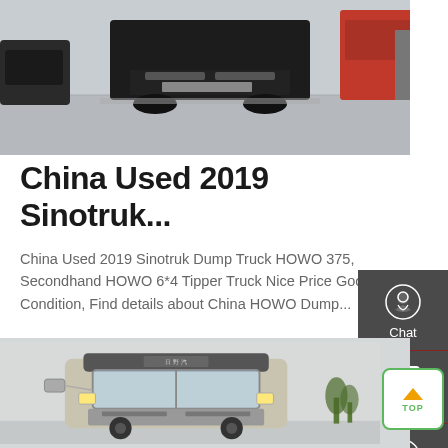[Figure (photo): Row of trucks parked in a lot, viewed from the front, gray pavement, various red and gray vehicles]
China Used 2019 Sinotruk...
China Used 2019 Sinotruk Dump Truck HOWO 375, Secondhand HOWO 6*4 Tipper Truck Nice Price Good Condition, Find details about China HOWO Dump...
[Figure (other): Sidebar panel with dark gray background containing Chat, Email, and Contact icons with labels]
[Figure (photo): Front cab view of a white/beige HOWO dump truck on a light gray background]
Get a Quote